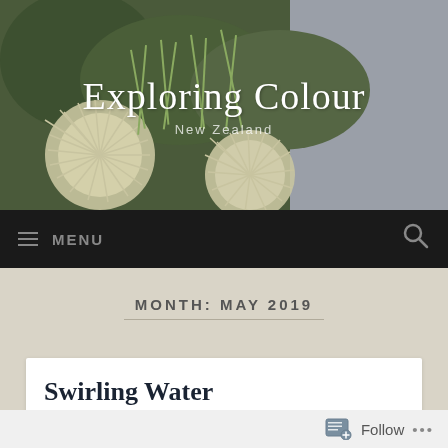[Figure (photo): Header photo of spiky green and cream colored New Zealand native plants (likely porcupine shrub or similar), with grey sky in the background.]
Exploring Colour
New Zealand
MENU
MONTH: MAY 2019
Swirling Water
Follow ...